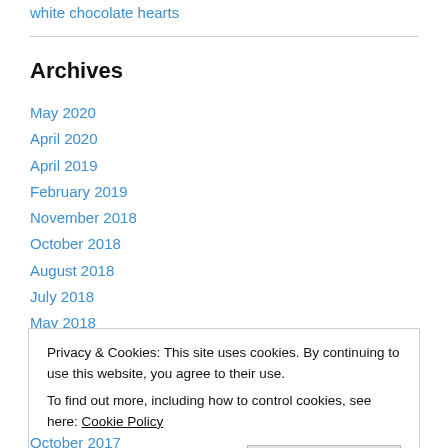white chocolate hearts
Archives
May 2020
April 2020
April 2019
February 2019
November 2018
October 2018
August 2018
July 2018
May 2018
Privacy & Cookies: This site uses cookies. By continuing to use this website, you agree to their use.
To find out more, including how to control cookies, see here: Cookie Policy
Close and accept
October 2017